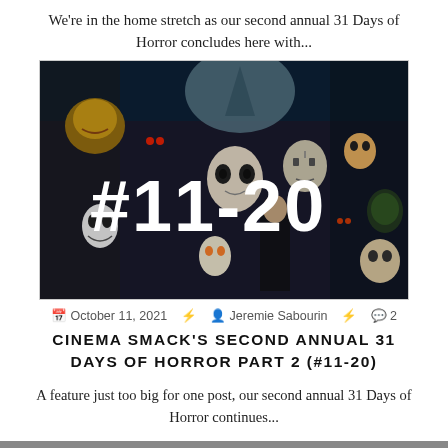We're in the home stretch as our second annual 31 Days of Horror concludes here with...
[Figure (illustration): Horror movie characters collage with large white text #11-20 overlaid, featuring icons like Michael Myers, Jason Voorhees, Freddy Krueger, Ghostface, Pennywise, Chucky, and others on a dark background.]
October 11, 2021  Jeremie Sabourin  2
CINEMA SMACK'S SECOND ANNUAL 31 DAYS OF HORROR PART 2 (#11-20)
A feature just too big for one post, our second annual 31 Days of Horror continues...